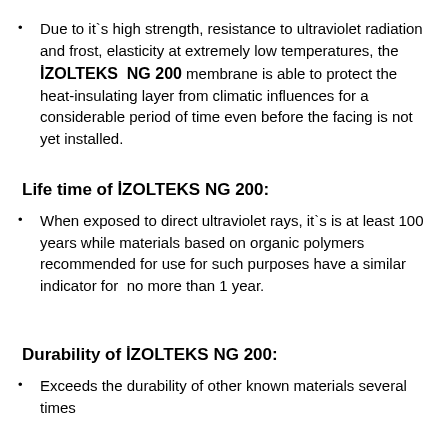Due to it's high strength, resistance to ultraviolet radiation and frost, elasticity at extremely low temperatures, the İZOLTEKS  NG 200 membrane is able to protect the heat-insulating layer from climatic influences for a considerable period of time even before the facing is not yet installed.
Life time of  İZOLTEKS NG 200:
When exposed to direct ultraviolet rays, it's is at least 100 years while materials based on organic polymers recommended for use for such purposes have a similar indicator for  no more than 1 year.
Durability of  İZOLTEKS NG 200:
Exceeds the durability of other known materials several times